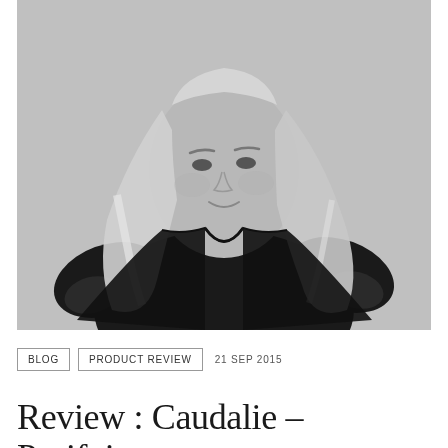[Figure (photo): Black and white portrait photo of a blonde woman with long wavy hair wearing a dark top, posed with hands on hips, smiling slightly, against a light background.]
BLOG   PRODUCT REVIEW   21 SEP 2015
Review : Caudalie – Purifying